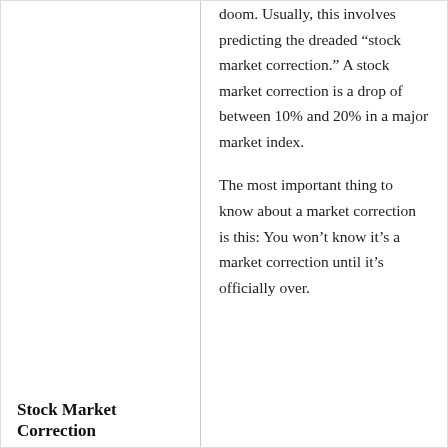doom. Usually, this involves predicting the dreaded “stock market correction.” A stock market correction is a drop of between 10% and 20% in a major market index.
The most important thing to know about a market correction is this: You won’t know it’s a market correction until it’s officially over.
Stock Market Correction